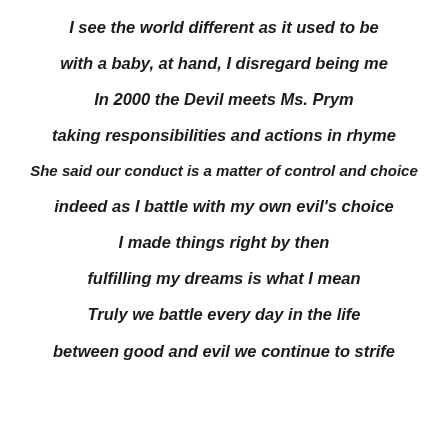I see the world different as it used to be
with a baby, at hand, I disregard being me
In 2000 the Devil meets Ms. Prym
taking responsibilities and actions in rhyme
She said our conduct is a matter of control and choice
indeed as I battle with my own evil's choice
I made things right by then
fulfilling my dreams is what I mean
Truly we battle every day in the life
between good and evil we continue to strife